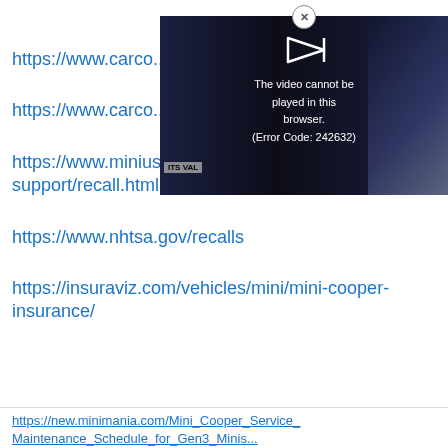https://www.carco...
https://www.carco...
https://www.minius.../support/recall.html
https://www.nhtsa.gov/recalls
https://insuraviz.com/vehicles/mini/mini-cooper-insurance/
[Figure (screenshot): Video player overlay showing error message: 'The video cannot be played in this browser. (Error Code: 242632)' with a close button (×) at top center, play icon at top, and 'ITS VAL' label visible in bottom-left corner of video player. Background shows dark concert/event imagery.]
https://new.minimania.com/Mini_Cooper_Service_Maintenance_Schedule_for_Gen3_Minis...